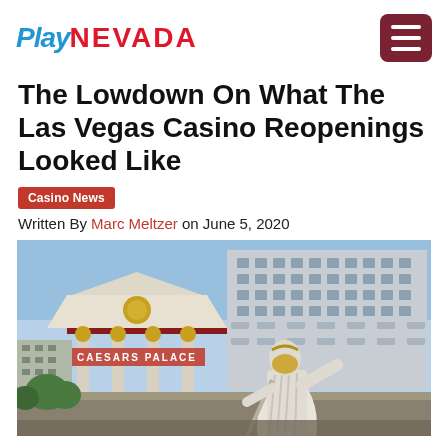Play NEVADA
The Lowdown On What The Las Vegas Casino Reopenings Looked Like
Casino News
Written By Marc Meltzer on June 5, 2020
[Figure (photo): Exterior of Caesars Palace casino in Las Vegas with a white Roman statue wearing a gold face mask in the foreground, and the iconic temple facade with gold ornaments and columns in the background.]